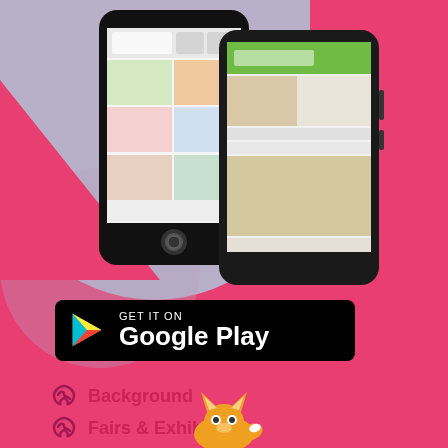[Figure (screenshot): Two smartphones displaying a food/grocery shopping app interface]
[Figure (logo): Get it on Google Play button badge]
Background
Fairs & Exhibition
Buyer Registration
Products List
About-US
Composting Methods
[Figure (illustration): Yellow cartoon fox/animal figure at the bottom center]